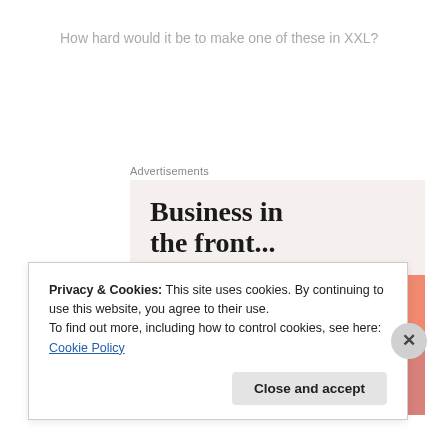How hard would it be to make one of these in XXL?
Advertisements
[Figure (illustration): Advertisement banner: top half shows 'Business in the front...' in bold serif text on a light beige/pink background. Bottom half shows 'WordPress in the back.' in bold serif text on an orange gradient background with soft circular shapes in orange, peach, and pink/mauve tones.]
Privacy & Cookies: This site uses cookies. By continuing to use this website, you agree to their use.
To find out more, including how to control cookies, see here: Cookie Policy
Close and accept